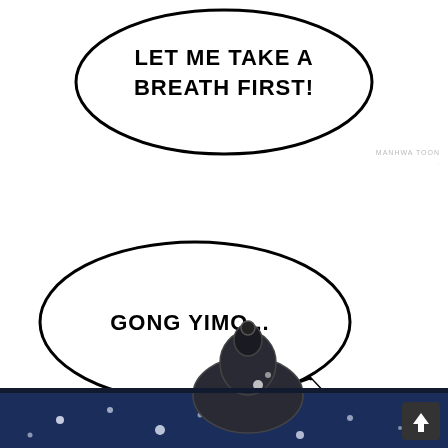[Figure (illustration): Manga/webtoon panel. Top: speech bubble (oval) with text 'LET ME TAKE A BREATH FIRST!' in bold black comic font, centered near top of page. Middle: white space with a small watermark reading 'MANHWA TOON' on the right side. Bottom-left: speech bubble (round with pointer at bottom-right) containing text 'GONG YIMO...' in bold black comic font. Bottom: a dark illustrated scene showing a figure in armor/robes bowing or crouching, set against a night sky with stars/sparkles, with a dark scroll-to-top button in the bottom-right corner.]